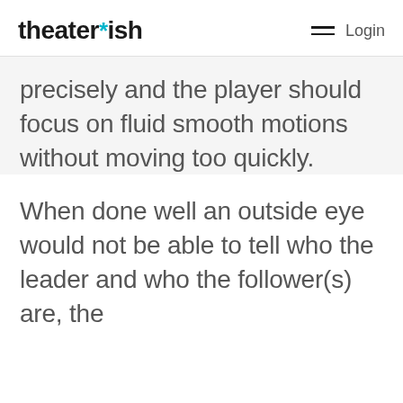theater*ish  Login
precisely and the player should focus on fluid smooth motions without moving too quickly.
When done well an outside eye would not be able to tell who the leader and who the follower(s) are, the